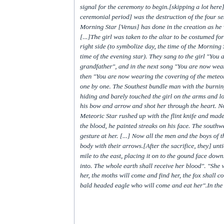signal for the ceremony to begin.[skipping a lot here] The main the ceremonial period] was the destruction of the four semicardinal ci Morning Star [Venus] has done in the creation as he warred on the [...]The girl was taken to the altar to be costumed for her last role. right side (to symbolize day, the time of the Morning Star), black o time of the evening star). They sang to the girl "You are now wear grandfather", and in the next song "You are now wearing the cove then "You are now wearing the covering of the meteorite brother". one by one. The Southest bundle man with the burning stick [repre hiding and barely touched the girl on the arms and loins. The Nort his bow and arrow and shot her through the heart. Now the Northe Meteoric Star rushed up with the flint knife and made a small cut o the blood, he painted streaks on his face. The southwest man cam gesture at her. [...] Now all the men and the boys of the Skidi Band body with their arrows.[After the sacrifice, they] untied the body ar mile to the east, placing it on to the gound face down. They sang, into. The whole earth shall receive her blood". "She will turn into a her, the moths will come and find her, the fox shall come and find bald headed eagle who will come and eat her".In the village, there